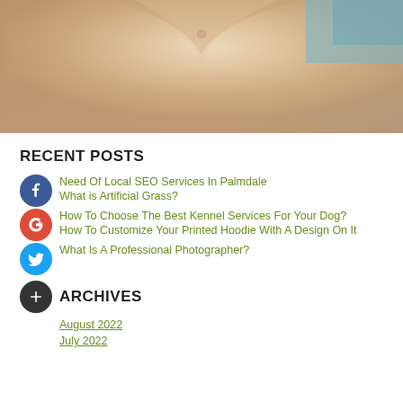[Figure (photo): Close-up photo of a person wearing a beige/cream colored jacket or hoodie with a button at the neckline, with a blurred blue background]
RECENT POSTS
Need Of Local SEO Services In Palmdale
What is Artificial Grass?
How To Choose The Best Kennel Services For Your Dog?
How To Customize Your Printed Hoodie With A Design On It
What Is A Professional Photographer?
ARCHIVES
August 2022
July 2022